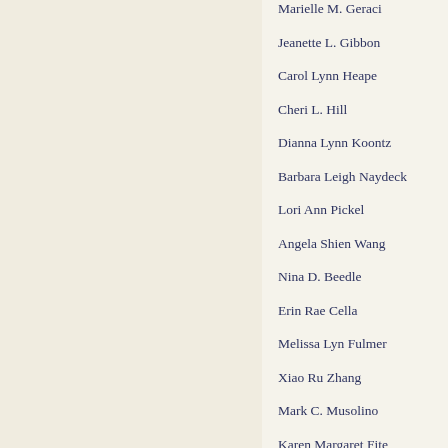Marielle M. Geraci
Jeanette L. Gibbon
Carol Lynn Heape
Cheri L. Hill
Dianna Lynn Koontz
Barbara Leigh Naydeck
Lori Ann Pickel
Angela Shien Wang
Nina D. Beedle
Erin Rae Cella
Melissa Lyn Fulmer
Xiao Ru Zhang
Mark C. Musolino
Karen Margaret Fite
Tammy Sue Mah
Donna M. Oleiniczak